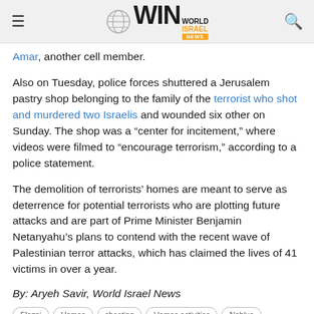WIN World Israel News
Amar, another cell member.
Also on Tuesday, police forces shuttered a Jerusalem pastry shop belonging to the family of the terrorist who shot and murdered two Israelis and wounded six other on Sunday. The shop was a “center for incitement,” where videos were filmed to “encourage terrorism,” according to a police statement.
The demolition of terrorists’ homes are meant to serve as deterrence for potential terrorists who are plotting future attacks and are part of Prime Minister Benjamin Netanyahu’s plans to contend with the recent wave of Palestinian terror attacks, which has claimed the lives of 41 victims in over a year.
By: Aryeh Savir, World Israel News